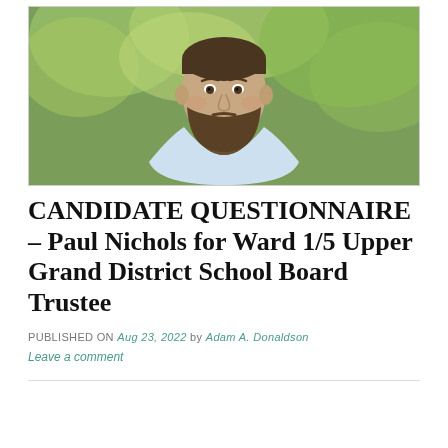[Figure (photo): Headshot photo of Paul Nichols, a bearded man wearing a light blue shirt, smiling, with green leafy trees in the background]
CANDIDATE QUESTIONNAIRE – Paul Nichols for Ward 1/5 Upper Grand District School Board Trustee
PUBLISHED ON Aug 23, 2022 by Adam A. Donaldson
Leave a comment